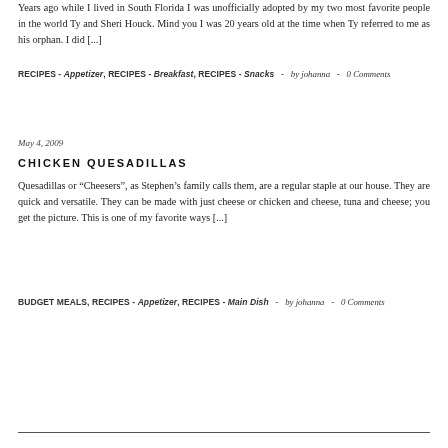Years ago while I lived in South Florida I was unofficially adopted by my two most favorite people in the world Ty and Sheri Houck. Mind you I was 20 years old at the time when Ty referred to me as his orphan. I did [...]
RECIPES - Appetizer, RECIPES - Breakfast, RECIPES - Snacks  -  by johanna  -  0 Comments
May 4, 2009
CHICKEN QUESADILLAS
Quesadillas or "Cheesers", as Stephen's family calls them, are a regular staple at our house. They are quick and versatile. They can be made with just cheese or chicken and cheese, tuna and cheese; you get the picture. This is one of my favorite ways [...]
BUDGET MEALS, RECIPES - Appetizer, RECIPES - Main Dish  -  by johanna  -  0 Comments